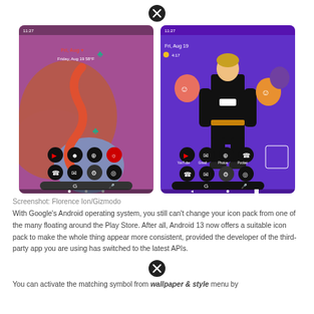[Figure (screenshot): Close/dismiss icon (X in circle) at top center of page]
[Figure (screenshot): Two Android phone screenshots side by side. Left shows a colorful abstract wallpaper with app icons and date 'Friday, Aug 19' and temperature. Right shows a purple wallpaper with illustrated characters and app icons, also showing 'Fri, Aug 19'.]
Screenshot: Florence Ion/Gizmodo
With Google's Android operating system, you still can't change your icon pack from one of the many floating around the Play Store. After all, Android 13 now offers a suitable icon pack to make the whole thing appear more consistent, provided the developer of the third-party app you are using has switched to the latest APIs.
[Figure (screenshot): Close/dismiss icon (X in circle) at bottom center]
You can activate the matching symbol from wallpaper & style menu by